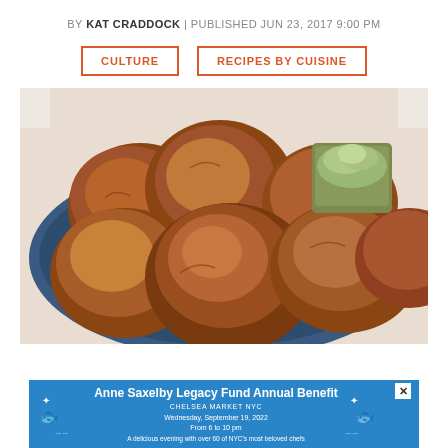BY KAT CRADDOCK | PUBLISHED JUN 23, 2017 9:00 PM
CULTURE
RECIPES BY CUISINE
[Figure (photo): Golden brown fried dough balls piled on a dark blue oval plate, with a small metal cup of green herb butter or dip on the side, photographed from above on a white background.]
[Figure (infographic): Advertisement banner for Anne Saxelby Legacy Fund Annual Benefit at Chelsea Market NYC, Wednesday September 19 2022, from 6 to 10 pm. A delicious evening with over 60 of NYC's most beloved chefs.]